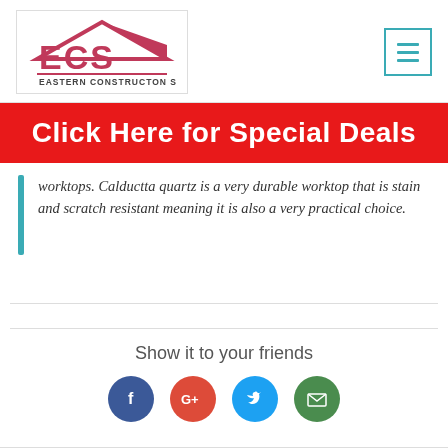[Figure (logo): ECS - Eastern Construction Supplies logo with house/roof icon in pink/maroon]
[Figure (other): Hamburger menu button with teal border and three teal horizontal lines]
Click Here for Special Deals
worktops. Calductta quartz is a very durable worktop that is stain and scratch resistant meaning it is also a very practical choice.
Show it to your friends
[Figure (other): Four social media share icons: Facebook (blue circle with f), Google+ (red circle with G+), Twitter (teal circle with bird), Email (green circle with envelope)]